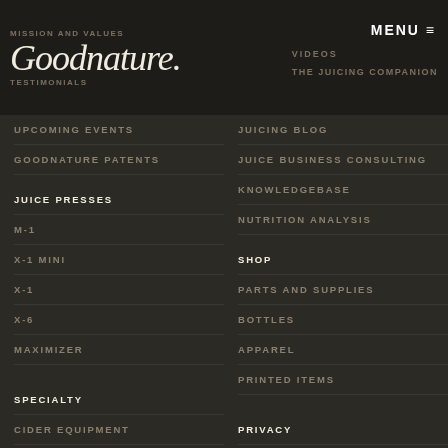MISSION AND VALUES | Goodnature | TESTIMONIALS | VIDEOS | THE JUICING COMPANION | MENU
UPCOMING EVENTS
JUICING BLOG
GOODNATURE PATENTS
JUICE BUSINESS CONSULTING
KNOWLEDGEBASE
JUICE PRESSES
NUTRITION ANALYSIS
M-1
X-1 MINI
SHOP
X-1
PARTS AND SUPPLIES
X-6
BOTTLES
MAXIMIZER
APPAREL
PRINTED ITEMS
SPECIALTY
PRIVACY
CIDER EQUIPMENT
TERMS OF USE
CRAFT BEER PASTEURIZER